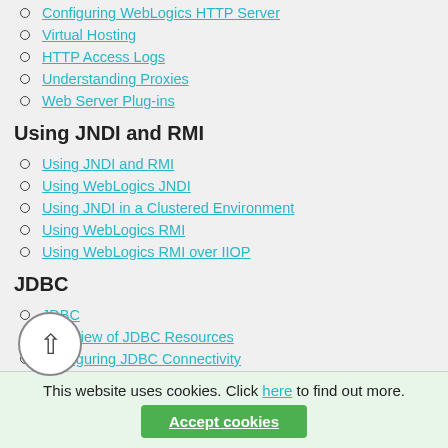Configuring WebLogics HTTP Server
Virtual Hosting
HTTP Access Logs
Understanding Proxies
Web Server Plug-ins
Using JNDI and RMI
Using JNDI and RMI
Using WebLogics JNDI
Using JNDI in a Clustered Environment
Using WebLogics RMI
Using WebLogics RMI over IIOP
JDBC
JDBC
Overview of JDBC Resources
Configuring JDBC Connectivity
WebLogics Wrapper Drivers
Rowsets
Transactions
This website uses cookies. Click here to find out more.